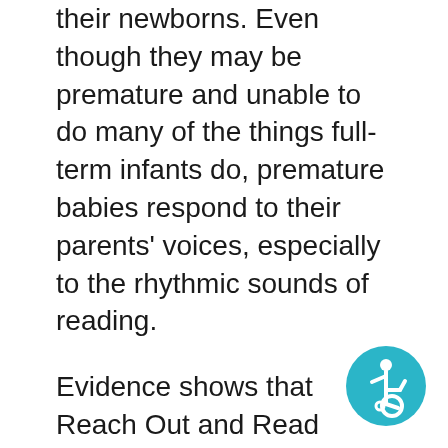their newborns. Even though they may be premature and unable to do many of the things full-term infants do, premature babies respond to their parents' voices, especially to the rhythmic sounds of reading.
Evidence shows that Reach Out and Read families read together more often, and their children enter kindergarten with larger vocabularies and stronger language skills. During the preschool years, children served by Reach Out and Read score three to six months ahead of their non-Reach Out and Read peers on vocabulary tests. Even though school may seem like a long way off for these
[Figure (illustration): Accessibility icon: circular teal/cyan badge with a white wheelchair accessibility symbol (stylized person in wheelchair)]